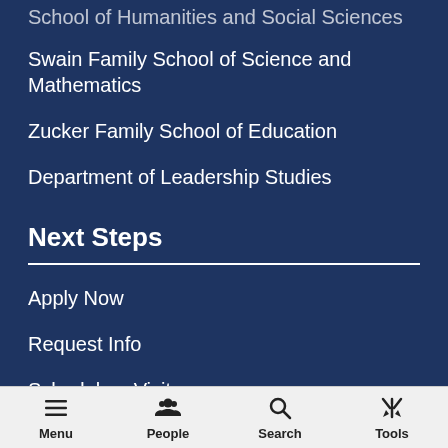School of Humanities and Social Sciences
Swain Family School of Science and Mathematics
Zucker Family School of Education
Department of Leadership Studies
Next Steps
Apply Now
Request Info
Schedule a Visit
360 Tour
Menu  People  Search  Tools